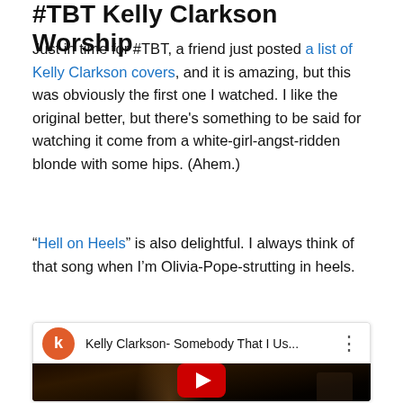#TBT Kelly Clarkson Worship
Just in time for #TBT, a friend just posted a list of Kelly Clarkson covers, and it is amazing, but this was obviously the first one I watched. I like the original better, but there's something to be said for watching it come from a white-girl-angst-ridden blonde with some hips. (Ahem.)
“Hell on Heels” is also delightful. I always think of that song when I’m Olivia-Pope-strutting in heels.
[Figure (screenshot): YouTube video embed showing Kelly Clarkson- Somebody That I Us... with a red play button overlay on a dark concert photo. YouTube-style header with orange 'k' avatar icon.]